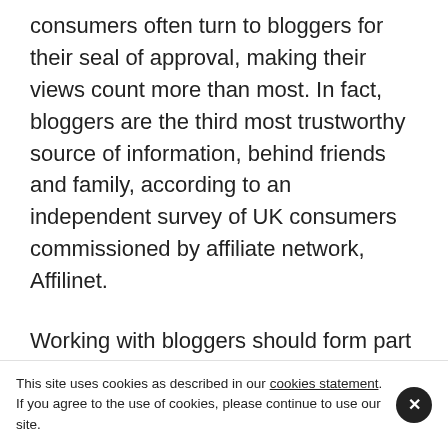consumers often turn to bloggers for their seal of approval, making their views count more than most. In fact, bloggers are the third most trustworthy source of information, behind friends and family, according to an independent survey of UK consumers commissioned by affiliate network, Affilinet.
Working with bloggers should form part of most below the line consumer marketing campaigns but in order for it to be successful and worth the investment, it has to be done properly. Building relationships with bloggers is the key to blogger
This site uses cookies as described in our cookies statement. If you agree to the use of cookies, please continue to use our site.